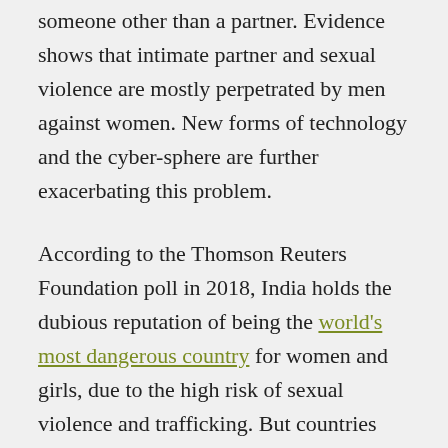someone other than a partner. Evidence shows that intimate partner and sexual violence are mostly perpetrated by men against women. New forms of technology and the cyber-sphere are further exacerbating this problem.
According to the Thomson Reuters Foundation poll in 2018, India holds the dubious reputation of being the world's most dangerous country for women and girls, due to the high risk of sexual violence and trafficking. But countries including Australia and the UK are by no means immune to the problem. As the femicide index initiative called 'Counting Dead Women' shows, in the UK and Australia, more than 100 women each year are killed by their current or former intimate partners.